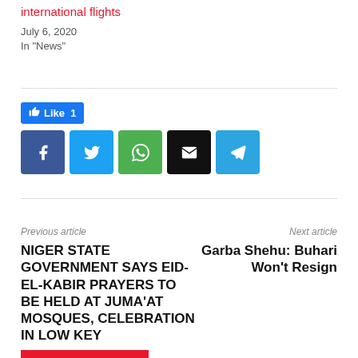international flights
July 6, 2020
In "News"
[Figure (infographic): Facebook Like button showing count of 1, followed by social share icons for Facebook, Twitter, WhatsApp, Email, and Telegram]
Previous article
Next article
NIGER STATE GOVERNMENT SAYS EID-EL-KABIR PRAYERS TO BE HELD AT JUMA'AT MOSQUES, CELEBRATION IN LOW KEY
Garba Shehu: Buhari Won't Resign